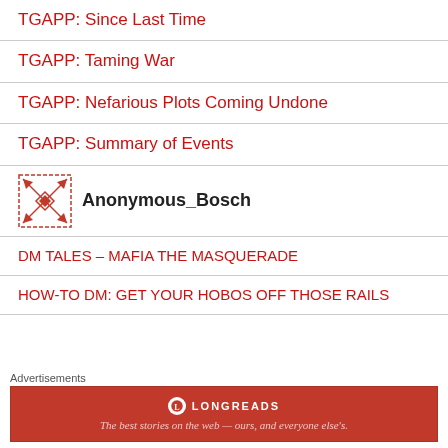TGAPP: Since Last Time
TGAPP: Taming War
TGAPP: Nefarious Plots Coming Undone
TGAPP: Summary of Events
[Figure (illustration): Red geometric pattern avatar icon for user Anonymous_Bosch]
Anonymous_Bosch
DM TALES – MAFIA THE MASQUERADE
HOW-TO DM: GET YOUR HOBOS OFF THOSE RAILS
Advertisements
[Figure (logo): Longreads advertisement banner — The best stories on the web — ours, and everyone else's.]